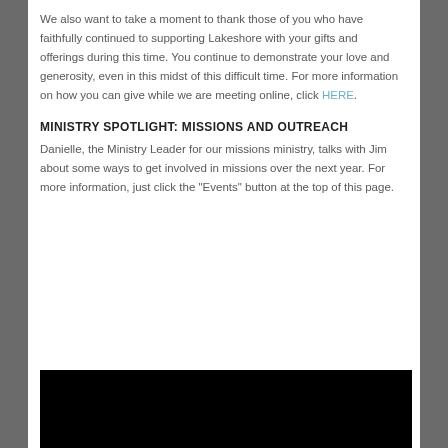We also want to take a moment to thank those of you who have faithfully continued to supporting Lakeshore with your gifts and offerings during this time. You continue to demonstrate your love and generosity, even in this midst of this difficult time. For more information on how you can give while we are meeting online, click HERE.
MINISTRY SPOTLIGHT: MISSIONS AND OUTREACH
Danielle, the Ministry Leader for our missions ministry, talks with Jim about some ways to get involved in missions over the next year. For more information, just click the "Events" button at the top of this page.
[Figure (other): Black video/image placeholder block]